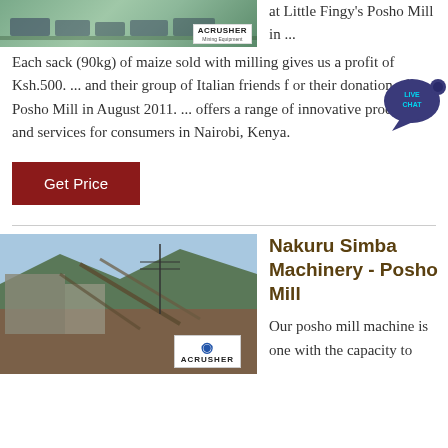[Figure (photo): Mining equipment truck image with ACRUSHER Mining Equipment logo badge in bottom right]
at Little Fingy's Posho Mill in ...
Each sack (90kg) of maize sold with milling gives us a profit of Ksh.500. ... and their group of Italian friends for their donation of a Posho Mill in August 2011. ... offers a range of innovative products and services for consumers in Nairobi, Kenya.
[Figure (other): Live chat speech bubble icon with text LIVE CHAT]
Get Price
[Figure (photo): Mining/quarry machinery site with ACRUSHER logo badge]
Nakuru Simba Machinery - Posho Mill
Our posho mill machine is one with the capacity to